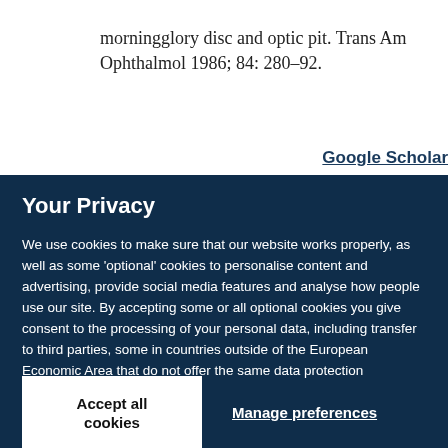morningglory disc and optic pit. Trans Am Ophthalmol 1986; 84: 280–92.
Google Scholar
Your Privacy
We use cookies to make sure that our website works properly, as well as some 'optional' cookies to personalise content and advertising, provide social media features and analyse how people use our site. By accepting some or all optional cookies you give consent to the processing of your personal data, including transfer to third parties, some in countries outside of the European Economic Area that do not offer the same data protection standards as the country where you live. You can decide which optional cookies to accept by clicking on 'Manage Settings', where you can also find more information about how your personal data is processed. Further information can be found in our privacy policy.
Accept all cookies
Manage preferences